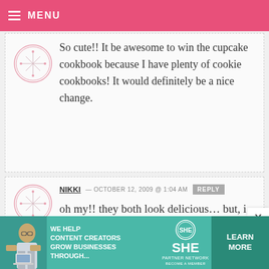MENU
So cute!! It be awesome to win the cupcake cookbook because I have plenty of cookie cookbooks! It would definitely be a nice change.
NIKKI — OCTOBER 12, 2009 @ 1:04 AM
oh my!! they both look delicious... but, i would have to choose cookies! :)
[Figure (infographic): SHE Partner Network advertisement banner with teal background, woman with laptop, and Learn More button]